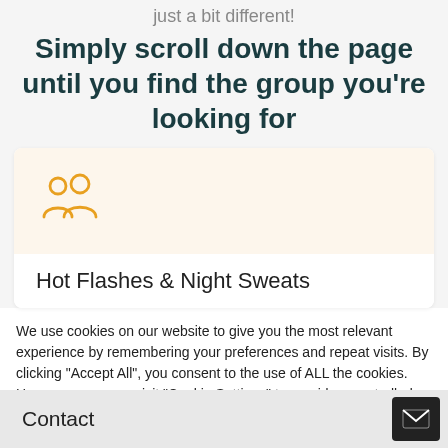just a bit different!
Simply scroll down the page until you find the group you're looking for
[Figure (illustration): Orange people/group icon with two human silhouettes]
Hot Flashes & Night Sweats
We use cookies on our website to give you the most relevant experience by remembering your preferences and repeat visits. By clicking “Accept All”, you consent to the use of ALL the cookies. However, you may visit “Cookie Settings” to provide a controlled consent.
Contact